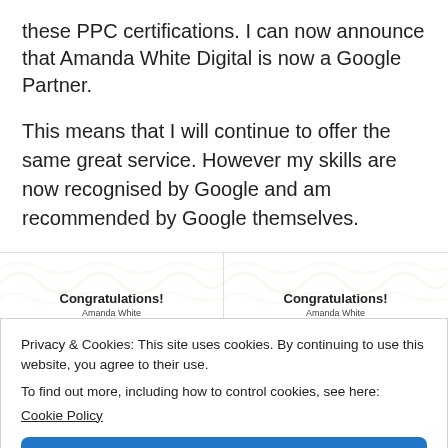these PPC certifications. I can now announce that Amanda White Digital is now a Google Partner.
This means that I will continue to offer the same great service. However my skills are now recognised by Google and am recommended by Google themselves.
[Figure (illustration): Two side-by-side Google certification certificates showing 'Congratulations! Amanda White' with a gold/yellow bar accent and decorative background pattern.]
Privacy & Cookies: This site uses cookies. By continuing to use this website, you agree to their use.
To find out more, including how to control cookies, see here:
Cookie Policy
Close and accept